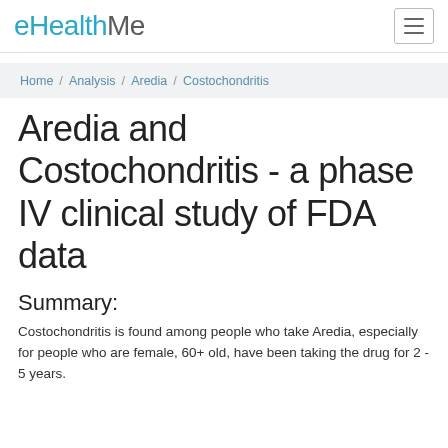eHealthMe
Home / Analysis / Aredia / Costochondritis
Aredia and Costochondritis - a phase IV clinical study of FDA data
Summary:
Costochondritis is found among people who take Aredia, especially for people who are female, 60+ old, have been taking the drug for 2 - 5 years.